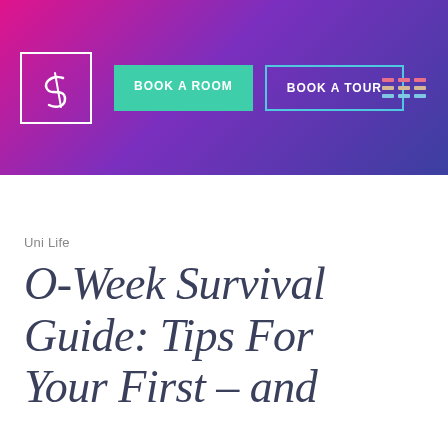[Figure (screenshot): Website header banner with gradient background (pink to purple to dark blue), containing a square logo with letter S, two navigation buttons (BOOK A ROOM in teal, BOOK A TOUR with teal outline), and a hamburger menu icon on the right]
Uni Life
O-Week Survival Guide: Tips For Your First – and